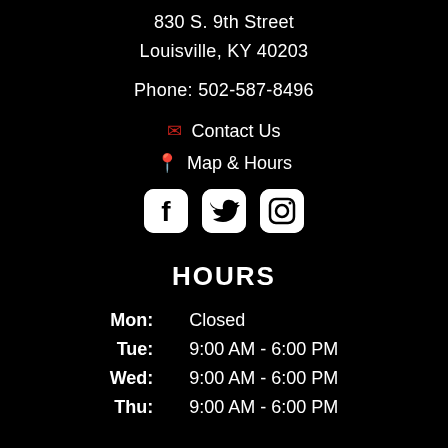830 S. 9th Street
Louisville, KY 40203
Phone: 502-587-8496
✉ Contact Us
📍 Map & Hours
[Figure (other): Social media icons: Facebook, Twitter, Instagram]
HOURS
| Mon: | Closed |
| Tue: | 9:00 AM - 6:00 PM |
| Wed: | 9:00 AM - 6:00 PM |
| Thu: | 9:00 AM - 6:00 PM |